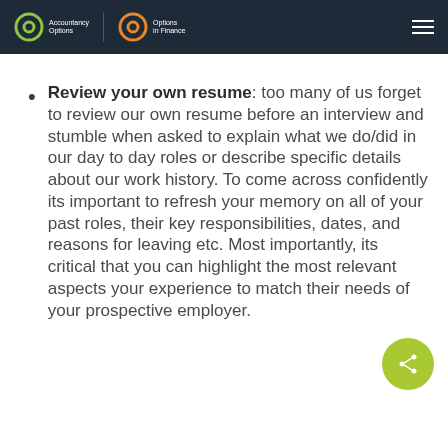Accountancy Options | Options in Finance
Review your own resume: too many of us forget to review our own resume before an interview and stumble when asked to explain what we do/did in our day to day roles or describe specific details about our work history. To come across confidently its important to refresh your memory on all of your past roles, their key responsibilities, dates, and reasons for leaving etc. Most importantly, its critical that you can highlight the most relevant aspects your experience to match their needs of your prospective employer.